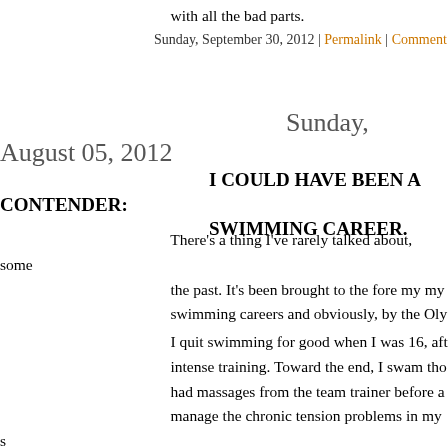with all the bad parts.
Sunday, September 30, 2012 | Permalink | Comments
Sunday, August 05, 2012
I COULD HAVE BEEN A CONTENDER: SWIMMING CAREER.
There's a thing I've rarely talked about, some the past. It's been brought to the fore my my swimming careers and obviously, by the Oly
I quit swimming for good when I was 16, aft intense training. Toward the end, I swam tho had massages from the team trainer before a manage the chronic tension problems in my s swimmers who qualified for nationals, for th always in lane 1, the injured lane, humiliatio
My mom will still remind me to this day tha effort, I could have been a world class distan